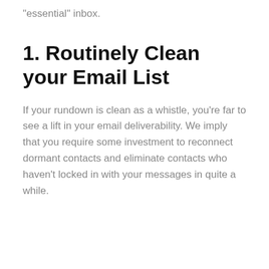“essential” inbox.
1. Routinely Clean your Email List
If your rundown is clean as a whistle, you’re far to see a lift in your email deliverability. We imply that you require some investment to reconnect dormant contacts and eliminate contacts who haven’t locked in with your messages in quite a while.